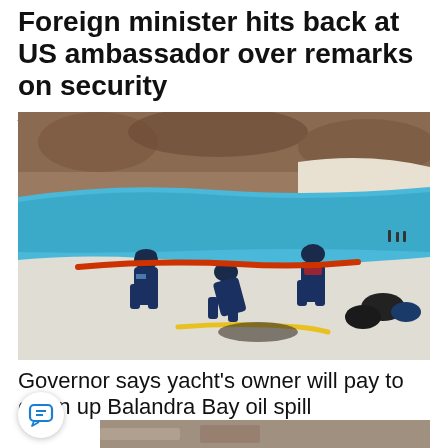Foreign minister hits back at US ambassador over remarks on security
August 31
[Figure (photo): Workers in dark uniforms cleaning up an oil spill on a sandy beach with bright blue water and rocky hillside in background. A red containment boom is visible in the water. Yellow equipment on the sand.]
Governor says yacht’s owner will pay to clean up Balandra Bay oil spill